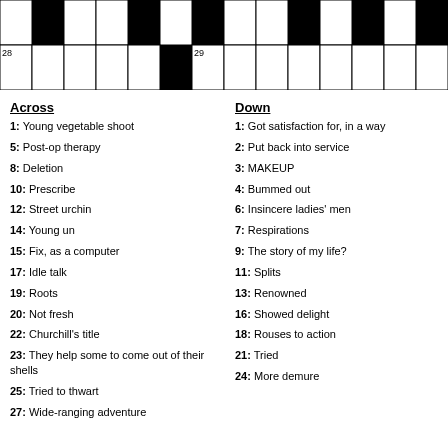[Figure (other): Partial crossword puzzle grid showing rows with black and white squares, numbered 28 and 29]
Across
1: Young vegetable shoot
5: Post-op therapy
8: Deletion
10: Prescribe
12: Street urchin
14: Young un
15: Fix, as a computer
17: Idle talk
19: Roots
20: Not fresh
22: Churchill's title
23: They help some to come out of their shells
25: Tried to thwart
27: Wide-ranging adventure
Down
1: Got satisfaction for, in a way
2: Put back into service
3: MAKEUP
4: Bummed out
6: Insincere ladies' men
7: Respirations
9: The story of my life?
11: Splits
13: Renowned
16: Showed delight
18: Rouses to action
21: Tried
24: More demure